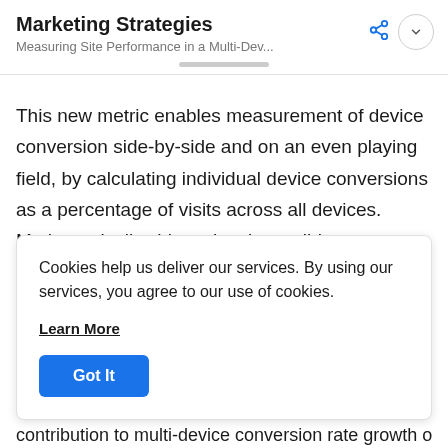Marketing Strategies
Measuring Site Performance in a Multi-Dev...
This new metric enables measurement of device conversion side-by-side and on an even playing field, by calculating individual device conversions as a percentage of visits across all devices. Mathematically, this makes it possible to compare conversion rates between devices as
Cookies help us deliver our services. By using our services, you agree to our use of cookies.

Learn More

Got It
contribution to multi-device conversion rate growth or